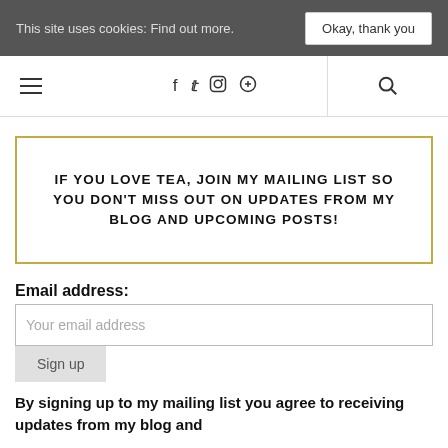This site uses cookies: Find out more. Okay, thank you
[Figure (screenshot): Navigation bar with hamburger menu, social media icons (Facebook, Twitter, Instagram, Pinterest), and search icon]
IF YOU LOVE TEA, JOIN MY MAILING LIST SO YOU DON'T MISS OUT ON UPDATES FROM MY BLOG AND UPCOMING POSTS!
Email address:
Your email address
Sign up
By signing up to my mailing list you agree to receiving updates from my blog and